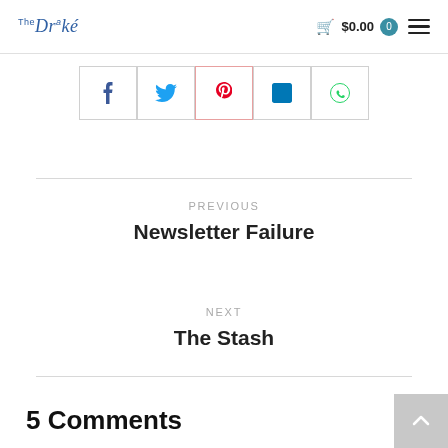The Drake | $0.00 0
[Figure (infographic): Social sharing buttons: Facebook (blue f), Twitter (blue bird), Pinterest (red p), LinkedIn (blue in), WhatsApp (green phone icon)]
PREVIOUS
Newsletter Failure
NEXT
The Stash
5 Comments